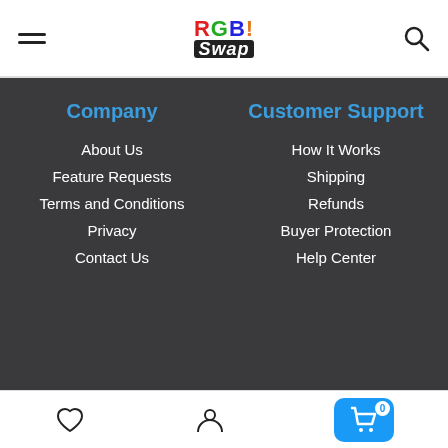RGB Swap - Header navigation with logo, hamburger menu, and search icon
Company
About Us
Feature Requests
Terms and Conditions
Privacy
Contact Us
Customer Support
How It Works
Shipping
Refunds
Buyer Protection
Help Center
Follow Us
[Figure (infographic): Social media icons: Twitter (blue), Discord (gray), Facebook (blue), Instagram (black)]
Bottom navigation bar with Wishlist (heart), Account (person), and Cart (0 items) icons